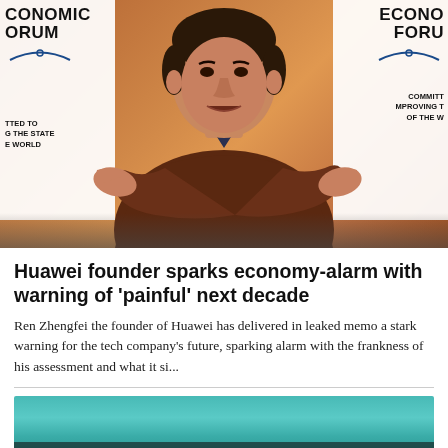[Figure (photo): Ren Zhengfei, founder of Huawei, gesturing with hands crossed at the World Economic Forum. Background shows WEF banners on both sides with orange/gold stage backdrop.]
Huawei founder sparks economy-alarm with warning of 'painful' next decade
Ren Zhengfei the founder of Huawei has delivered in leaked memo a stark warning for the tech company's future, sparking alarm with the frankness of his assessment and what it si...
[Figure (photo): Second article image, partially visible, showing a teal/blue-green background with a dark bar at the bottom containing text.]